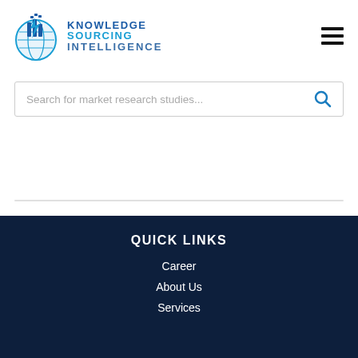[Figure (logo): Knowledge Sourcing Intelligence logo with a blue globe/lightning bolt icon and text 'KNOWLEDGE SOURCING INTELLIGENCE']
Search for market research studies...
QUICK LINKS
Career
About Us
Services